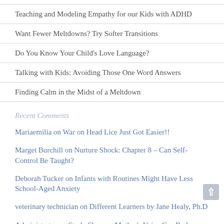Teaching and Modeling Empathy for our Kids with ADHD
Want Fewer Meltdowns? Try Softer Transitions
Do You Know Your Child's Love Language?
Talking with Kids: Avoiding Those One Word Answers
Finding Calm in the Midst of a Meltdown
Recent Comments
Mariaemilia on War on Head Lice Just Got Easier!!
Marget Burchill on Nurture Shock: Chapter 8 – Can Self-Control Be Taught?
Deborah Tucker on Infants with Routines Might Have Less School-Aged Anxiety
veterinary technician on Different Learners by Jane Healy, Ph.D
Administrator on Study Shows a Mother's Voice Can Reduce Stress Levels in Young Girls